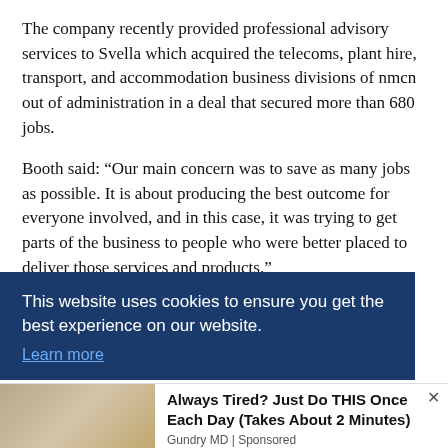The company recently provided professional advisory services to Svella which acquired the telecoms, plant hire, transport, and accommodation business divisions of nmcn out of administration in a deal that secured more than 680 jobs.
Booth said: “Our main concern was to save as many jobs as possible. It is about producing the best outcome for everyone involved, and in this case, it was trying to get parts of the business to people who were better placed to deliver those services and products.”
[partial text obscured by cookie banner] ...s on ...and
This website uses cookies to ensure you get the best experience on our website. Learn more
[Figure (photo): Photo of an older man in a suit pointing at something, partially visible]
Always Tired? Just Do THIS Once Each Day (Takes About 2 Minutes) Gundry MD | Sponsored